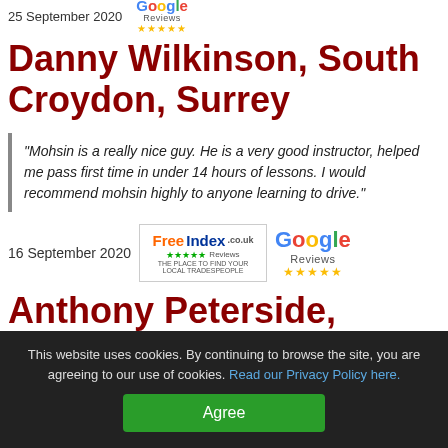25 September 2020  Google Reviews ★★★★★
Danny Wilkinson, South Croydon, Surrey
"Mohsin is a really nice guy. He is a very good instructor, helped me pass first time in under 14 hours of lessons. I would recommend mohsin highly to anyone learning to drive."
16 September 2020
[Figure (logo): FreeIndex.co.uk logo with green star ratings]
[Figure (logo): Google Reviews logo with gold stars]
Anthony Peterside, Croydon,
This website uses cookies. By continuing to browse the site, you are agreeing to our use of cookies. Read our Privacy Policy here.